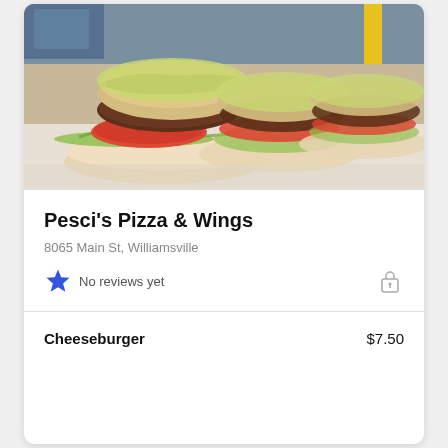[Figure (photo): Multiple cheeseburgers/sandwiches with tomato, lettuce, and melted cheese on white rolls lined up on a counter]
Pesci's Pizza & Wings
8065 Main St, Williamsville
No reviews yet
Cheeseburger  $7.50